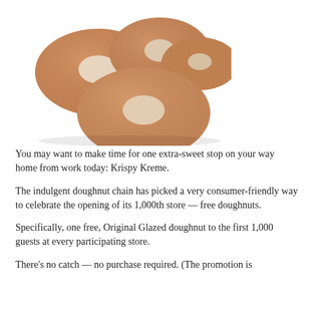[Figure (photo): Four glazed doughnuts arranged in a cluster on a white background, showing their characteristic ring shape with smooth caramel-brown glaze.]
You may want to make time for one extra-sweet stop on your way home from work today: Krispy Kreme.
The indulgent doughnut chain has picked a very consumer-friendly way to celebrate the opening of its 1,000th store — free doughnuts.
Specifically, one free, Original Glazed doughnut to the first 1,000 guests at every participating store.
There's no catch — no purchase required. (The promotion is